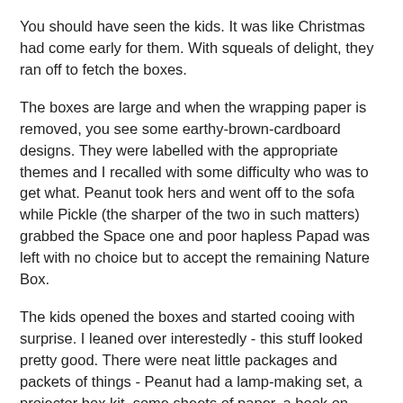You should have seen the kids. It was like Christmas had come early for them. With squeals of delight, they ran off to fetch the boxes.
The boxes are large and when the wrapping paper is removed, you see some earthy-brown-cardboard designs. They were labelled with the appropriate themes and I recalled with some difficulty who was to get what. Peanut took hers and went off to the sofa while Pickle (the sharper of the two in such matters) grabbed the Space one and poor hapless Papad was left with no choice but to accept the remaining Nature Box.
The kids opened the boxes and started cooing with surprise. I leaned over interestedly - this stuff looked pretty good. There were neat little packages and packets of things - Peanut had a lamp-making set, a projector box kit, some sheets of paper, a book on Light, a Sundial, Shadow Puppets, a Kaleidoscope maker and...
'A TORCH!'